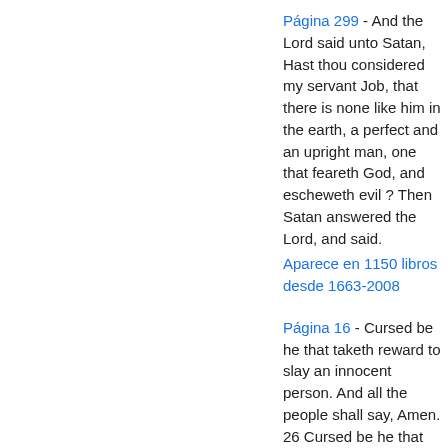Página 299 - And the Lord said unto Satan, Hast thou considered my servant Job, that there is none like him in the earth, a perfect and an upright man, one that feareth God, and escheweth evil ? Then Satan answered the Lord, and said.
Aparece en 1150 libros desde 1663-2008
Página 16 - Cursed be he that taketh reward to slay an innocent person. And all the people shall say, Amen. 26 Cursed be he that confirmeth not all the words of this law to do them.
Aparece en 295 libros